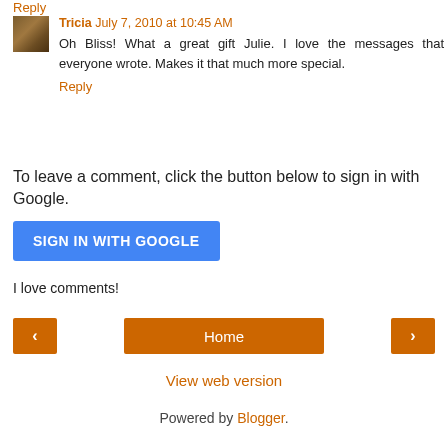Reply
Tricia July 7, 2010 at 10:45 AM
Oh Bliss! What a great gift Julie. I love the messages that everyone wrote. Makes it that much more special.
Reply
To leave a comment, click the button below to sign in with Google.
[Figure (other): Blue SIGN IN WITH GOOGLE button]
I love comments!
[Figure (other): Navigation bar with left arrow, Home button, and right arrow]
View web version
Powered by Blogger.